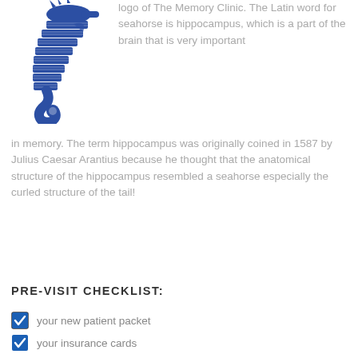[Figure (illustration): Blue seahorse logo of The Memory Clinic, shown partially at top left of the page.]
logo of The Memory Clinic. The Latin word for seahorse is hippocampus, which is a part of the brain that is very important in memory. The term hippocampus was originally coined in 1587 by Julius Caesar Arantius because he thought that the anatomical structure of the hippocampus resembled a seahorse especially the curled structure of the tail!
PRE-VISIT CHECKLIST:
your new patient packet
your insurance cards